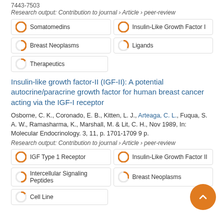7443-7503
Research output: Contribution to journal › Article › peer-review
Somatomedins
Insulin-Like Growth Factor I
Breast Neoplasms
Ligands
Therapeutics
Insulin-like growth factor-II (IGF-II): A potential autocrine/paracrine growth factor for human breast cancer acting via the IGF-I receptor
Osborne, C. K., Coronado, E. B., Kitten, L. J., Arteaga, C. L., Fuqua, S. A. W., Ramasharma, K., Marshall, M. & Lit, C. H., Nov 1989, In: Molecular Endocrinology. 3, 11, p. 1701-1709 9 p.
Research output: Contribution to journal › Article › peer-review
IGF Type 1 Receptor
Insulin-Like Growth Factor II
Intercellular Signaling Peptides
Breast Neoplasms
Cell Line